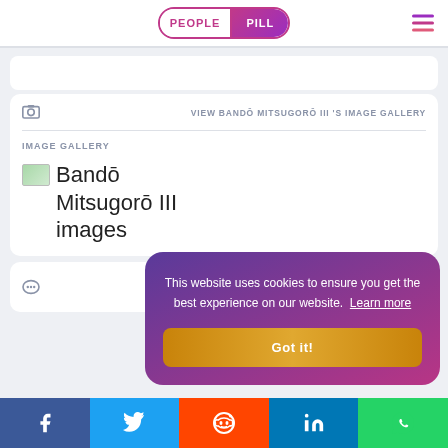PEOPLE PILL
[Figure (screenshot): PeoplePill website screenshot showing image gallery section for Bandō Mitsugorō III with cookie consent overlay and social sharing bar]
VIEW BANDŌ MITSUGORŌ III 'S IMAGE GALLERY
IMAGE GALLERY
Bandō Mitsugorō III images
This website uses cookies to ensure you get the best experience on our website. Learn more
Got it!